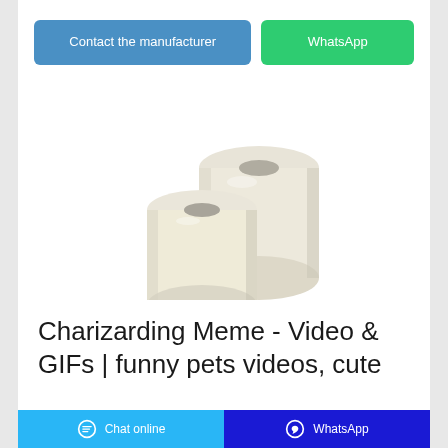[Figure (other): Two white toilet paper rolls, one upright and one leaning, on white background]
Charizarding Meme - Video & GIFs | funny pets videos, cute ...
$8.18 GME al View GME ALL Your Position Amount Equity 3 $2,454.00 GME Break
Chat online | WhatsApp